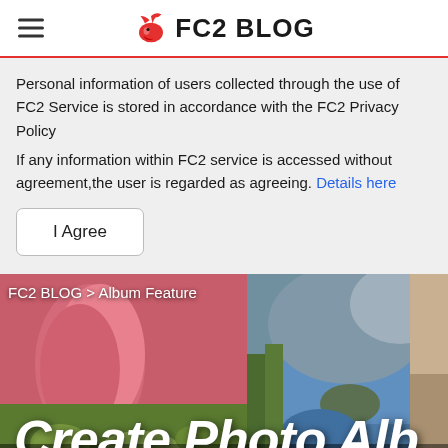FC2 BLOG
Personal information of users collected through the use of FC2 Service is stored in accordance with the FC2 Privacy Policy
If any information within FC2 service is accessed without agreement,the user is regarded as agreeing. Details here
I Agree
[Figure (photo): Photo collage banner showing tulip flowers, mountain lake scenery, food dishes, and a hedgehog. Overlaid with breadcrumb 'FC2 BLOG > Album Feature', large title 'Create Photo Alb' (truncated), and subtitle 'Create, manage and share yo' (truncated).]